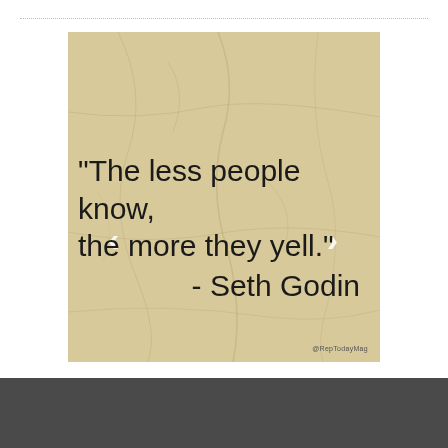[Figure (illustration): A crumpled parchment/kraft paper background image with a quote overlaid in large sans-serif text: '"The less people know, the more they yell." - Seth Godin'. Navigation arrows (< and >) appear on the left and right sides. A watermark '@RepTodayMag' appears in the bottom-right corner of the image.]